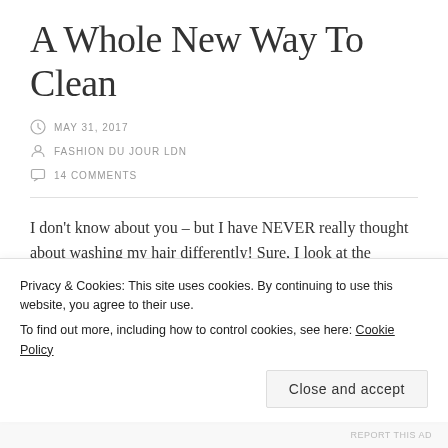A Whole New Way To Clean
MAY 31, 2017
FASHION DU JOUR LDN
14 COMMENTS
I don't know about you – but I have NEVER really thought about washing my hair differently! Sure, I look at the ingredients and I try new shampoos
Privacy & Cookies: This site uses cookies. By continuing to use this website, you agree to their use.
To find out more, including how to control cookies, see here: Cookie Policy
Close and accept
REPORT THIS AD